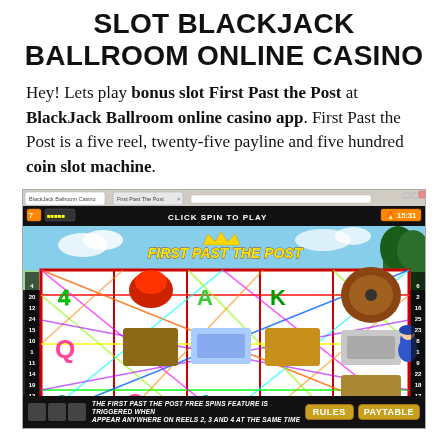SLOT BLACKJACK BALLROOM ONLINE CASINO
Hey! Lets play bonus slot First Past the Post at BlackJack Ballroom online casino app. First Past the Post is a five reel, twenty-five payline and five hundred coin slot machine.
[Figure (screenshot): Screenshot of the 'First Past the Post' slot machine game running in the BlackJack Ballroom online casino app, showing the game reels with colorful symbols and diagonal paylines, with a bottom bar reading 'The First Past the Post Free Spins Feature is triggered when appear anywhere on reels 2, 3 and 4 at the same time' and buttons for Rules and Paytable.]